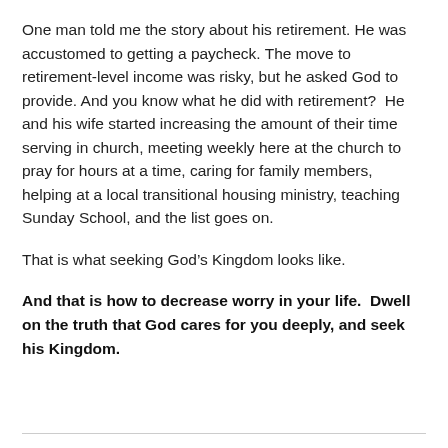One man told me the story about his retirement. He was accustomed to getting a paycheck. The move to retirement-level income was risky, but he asked God to provide. And you know what he did with retirement?  He and his wife started increasing the amount of their time serving in church, meeting weekly here at the church to pray for hours at a time, caring for family members, helping at a local transitional housing ministry, teaching Sunday School, and the list goes on.
That is what seeking God’s Kingdom looks like.
And that is how to decrease worry in your life.  Dwell on the truth that God cares for you deeply, and seek his Kingdom.